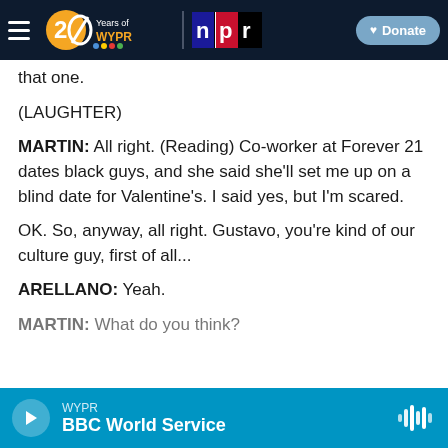WYPR 20 Years of WYPR | npr | Donate
that one.
(LAUGHTER)
MARTIN: All right. (Reading) Co-worker at Forever 21 dates black guys, and she said she'll set me up on a blind date for Valentine's. I said yes, but I'm scared.
OK. So, anyway, all right. Gustavo, you're kind of our culture guy, first of all...
ARELLANO: Yeah.
MARTIN: What do you think?
WYPR | BBC World Service